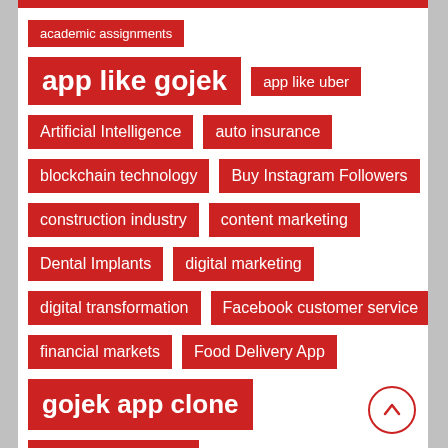academic assignments
app like gojek
app like uber
Artificial Intelligence
auto insurance
blockchain technology
Buy Instagram Followers
construction industry
content marketing
Dental Implants
digital marketing
digital transformation
Facebook customer service
financial markets
Food Delivery App
gojek app clone
gojek clone
gojek clone 2022